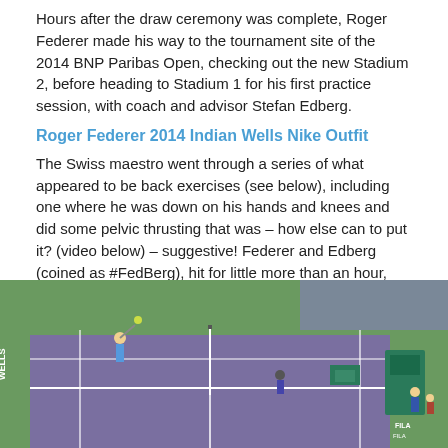Hours after the draw ceremony was complete, Roger Federer made his way to the tournament site of the 2014 BNP Paribas Open, checking out the new Stadium 2, before heading to Stadium 1 for his first practice session, with coach and advisor Stefan Edberg.
Roger Federer 2014 Indian Wells Nike Outfit
The Swiss maestro went through a series of what appeared to be back exercises (see below), including one where he was down on his hands and knees and did some pelvic thrusting that was – how else can to put it? (video below) – suggestive! Federer and Edberg (coined as #FedBerg), hit for little more than an hour, and the Swede was more than a respectable hitting partner, keeping himself in good shape over the years.
[Figure (photo): Tennis court scene with a player serving or practicing at what appears to be the Indian Wells Stadium court. The court has a purple surface with green surroundings. A ball boy or official is visible near the net post, and stadium seating is visible in the background. A FILA branded chair umpire stand is visible on the right side.]